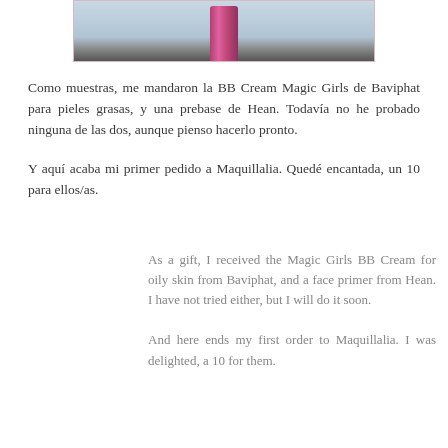[Figure (photo): Partial photo of a pink/magenta cosmetic tube product (BB Cream), cropped at top, with light blue background, framed with a light pink border.]
Como muestras, me mandaron la BB Cream Magic Girls de Baviphat para pieles grasas, y una prebase de Hean. Todavía no he probado ninguna de las dos, aunque pienso hacerlo pronto.
Y aquí acaba mi primer pedido a Maquillalia. Quedé encantada, un 10 para ellos/as.
As a gift, I received the Magic Girls BB Cream for oily skin from Baviphat, and a face primer from Hean. I have not tried either, but I will do it soon.
And here ends my first order to Maquillalia. I was delighted, a 10 for them.